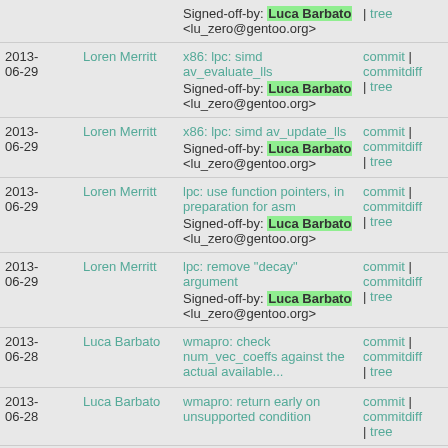| Date | Author | Message | Links |
| --- | --- | --- | --- |
|  |  | Signed-off-by: Luca Barbato <lu_zero@gentoo.org> | | tree |
| 2013-06-29 | Loren Merritt | x86: lpc: simd av_evaluate_lls
Signed-off-by: Luca Barbato <lu_zero@gentoo.org> | commit | commitdiff | tree |
| 2013-06-29 | Loren Merritt | x86: lpc: simd av_update_lls
Signed-off-by: Luca Barbato <lu_zero@gentoo.org> | commit | commitdiff | tree |
| 2013-06-29 | Loren Merritt | lpc: use function pointers, in preparation for asm
Signed-off-by: Luca Barbato <lu_zero@gentoo.org> | commit | commitdiff | tree |
| 2013-06-29 | Loren Merritt | lpc: remove "decay" argument
Signed-off-by: Luca Barbato <lu_zero@gentoo.org> | commit | commitdiff | tree |
| 2013-06-28 | Luca Barbato | wmapro: check num_vec_coeffs against the actual available... | commit | commitdiff | tree |
| 2013-06-28 | Luca Barbato | wmapro: return early on unsupported condition | commit | commitdiff | tree |